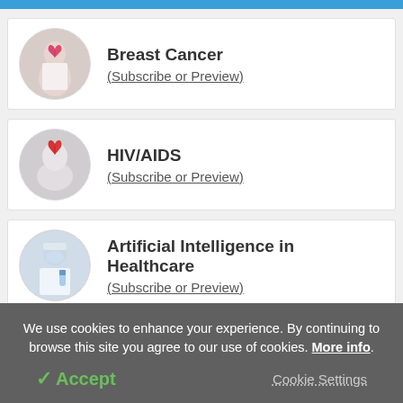[Figure (screenshot): Blue header bar at top of page]
Breast Cancer (Subscribe or Preview)
HIV/AIDS (Subscribe or Preview)
Artificial Intelligence in Healthcare (Subscribe or Preview)
We use cookies to enhance your experience. By continuing to browse this site you agree to our use of cookies. More info.
✓ Accept
Cookie Settings